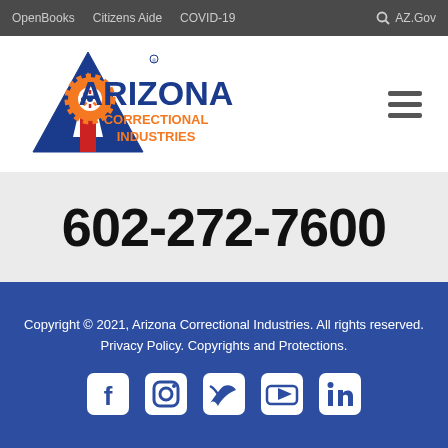OpenBooks   Citizens Aide   COVID-19   AZ.Gov
[Figure (logo): Arizona Correctional Industries logo with stylized A, gear, and text]
602-272-7600
Copyright © 2021, Arizona Correctional Industries. All rights reserved. Privacy Policy. Copyrights and Protections.